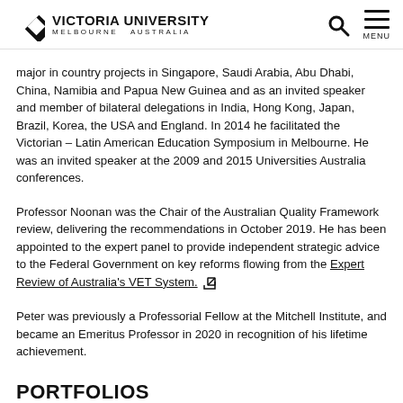Victoria University Melbourne Australia
major in country projects in Singapore, Saudi Arabia, Abu Dhabi, China, Namibia and Papua New Guinea and as an invited speaker and member of bilateral delegations in India, Hong Kong, Japan, Brazil, Korea, the USA and England. In 2014 he facilitated the Victorian – Latin American Education Symposium in Melbourne. He was an invited speaker at the 2009 and 2015 Universities Australia conferences.
Professor Noonan was the Chair of the Australian Quality Framework review, delivering the recommendations in October 2019. He has been appointed to the expert panel to provide independent strategic advice to the Federal Government on key reforms flowing from the Expert Review of Australia's VET System.
Peter was previously a Professorial Fellow at the Mitchell Institute, and became an Emeritus Professor in 2020 in recognition of his lifetime achievement.
PORTFOLIOS
Mitchell Institute for Education and Health Policy